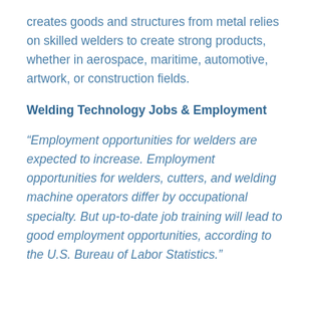creates goods and structures from metal relies on skilled welders to create strong products, whether in aerospace, maritime, automotive, artwork, or construction fields.
Welding Technology Jobs & Employment
“Employment opportunities for welders are expected to increase. Employment opportunities for welders, cutters, and welding machine operators differ by occupational specialty. But up-to-date job training will lead to good employment opportunities, according to the U.S. Bureau of Labor Statistics.”